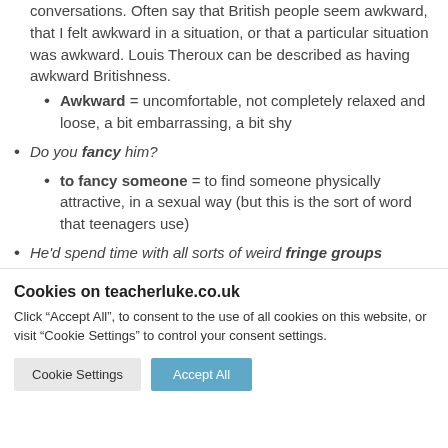conversations. Often say that British people seem awkward, that I felt awkward in a situation, or that a particular situation was awkward. Louis Theroux can be described as having awkward Britishness.
Awkward = uncomfortable, not completely relaxed and loose, a bit embarrassing, a bit shy
Do you fancy him?
to fancy someone = to find someone physically attractive, in a sexual way (but this is the sort of word that teenagers use)
He'd spend time with all sorts of weird fringe groups
fringe = edge
Cookies on teacherluke.co.uk
Click “Accept All”, to consent to the use of all cookies on this website, or visit “Cookie Settings” to control your consent settings.